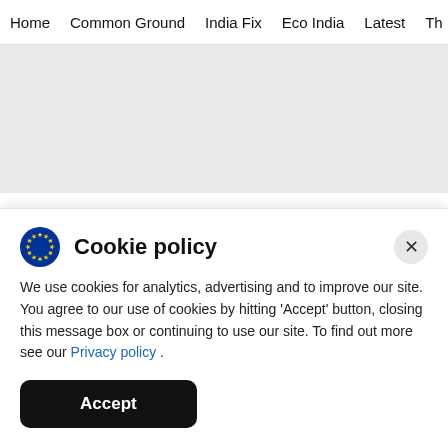Home  Common Ground  India Fix  Eco India  Latest  Th
[Figure (other): Gray placeholder/advertisement area]
Unlike the sedate king of fruits, the apple has had a pretty eventful life. Apart from making Eve a testament of its desirability, the apple's allure also
Cookie policy
We use cookies for analytics, advertising and to improve our site. You agree to our use of cookies by hitting 'Accept' button, closing this message box or continuing to use our site. To find out more see our Privacy policy .
Accept